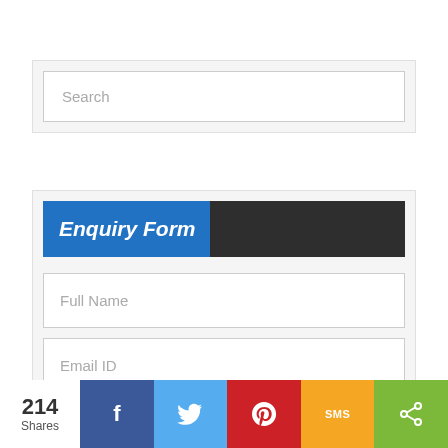Search
Enquiry Form
Full Name
Email ID
214 Shares